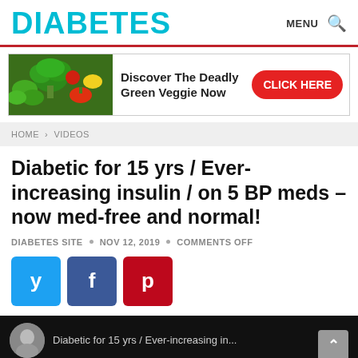DIABETES
[Figure (screenshot): Advertisement banner: vegetables image on left, text 'Discover The Deadly Green Veggie Now', red 'CLICK HERE' button on right]
HOME > VIDEOS
Diabetic for 15 yrs / Ever-increasing insulin / on 5 BP meds – now med-free and normal!
DIABETES SITE • NOV 12, 2019 • COMMENTS OFF
[Figure (infographic): Social sharing buttons: Twitter (blue), Facebook (dark blue), Pinterest (red)]
[Figure (screenshot): Video thumbnail with dark background, person avatar, caption text 'Diabetic for 15 yrs / Ever-increasing...']